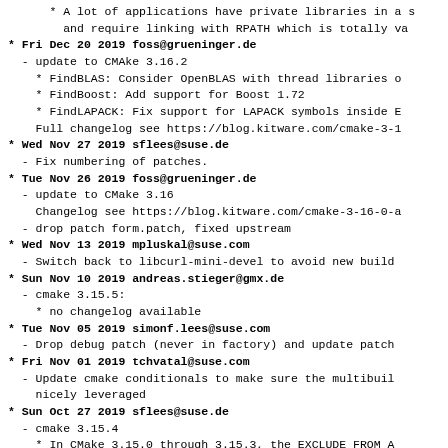* A lot of applications have private libraries in a subdirectory and require linking with RPATH which is totally valid.
* Fri Dec 20 2019 foss@grueninger.de
  - update to CMAke 3.16.2
    * FindBLAS: Consider OpenBLAS with thread libraries on macOS
    * FindBoost: Add support for Boost 1.72
    * FindLAPACK: Fix support for LAPACK symbols inside E
    Full changelog see https://blog.kitware.com/cmake-3-1...
* Wed Nov 27 2019 sflees@suse.de
  - Fix numbering of patches.
* Tue Nov 26 2019 foss@grueninger.de
  - update to CMake 3.16
    Changelog see https://blog.kitware.com/cmake-3-16-0-a...
  - drop patch form.patch, fixed upstream
* Wed Nov 13 2019 mpluskal@suse.com
  - Switch back to libcurl-mini-devel to avoid new build...
* Sun Nov 10 2019 andreas.stieger@gmx.de
  - cmake 3.15.5:
    * no changelog available
* Tue Nov 05 2019 simonf.lees@suse.com
  - Drop debug patch (never in factory) and update patch...
* Fri Nov 01 2019 tchvatal@suse.com
  - Update cmake conditionals to make sure the multibuild...
    nicely leveraged
* Sun Oct 27 2019 sflees@suse.de
  - cmake 3.15.4
    * In CMake 3.15.0 through 3.15.3, the EXCLUDE_FROM_ALL...
      property was regressed from pre-3.14 behavior and c...
      within the directory to be excluded even from its o...
      This has been fixed. The bug also existed in 3.14.0...